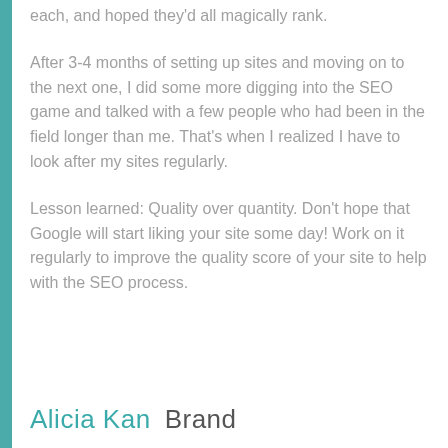each, and hoped they'd all magically rank.
After 3-4 months of setting up sites and moving on to the next one, I did some more digging into the SEO game and talked with a few people who had been in the field longer than me. That's when I realized I have to look after my sites regularly.
Lesson learned: Quality over quantity. Don't hope that Google will start liking your site some day! Work on it regularly to improve the quality score of your site to help with the SEO process.
Alicia Kan  Brand